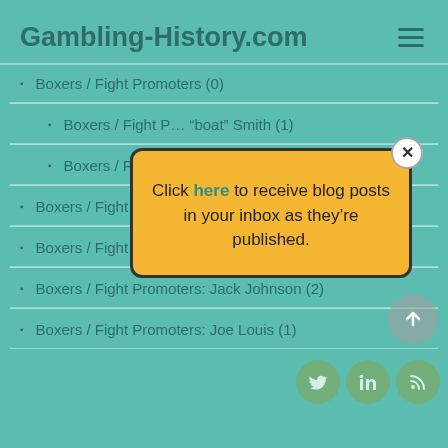Gambling-History.com
Boxers / Fight Promoters (0)
Boxers / Fight P... "boat" Smith (1)
Boxers / Fight P... froth (1)
Boxers / Fight Pro...
Boxers / Fight Promoters: Jack Dempsey (1)
Boxers / Fight Promoters: Jack Johnson (2)
Boxers / Fight Promoters: Joe Louis (1)
[Figure (infographic): Yellow popup modal with close button saying 'Click here to receive blog posts in your inbox as they're published.' Social sharing icons (Twitter, LinkedIn, RSS) at bottom right. Scroll-to-top button.]